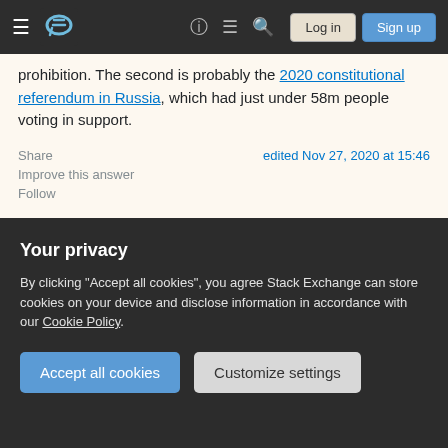Stack Exchange navigation bar with Log in and Sign up buttons
prohibition. The second is probably the 2020 constitutional referendum in Russia, which had just under 58m people voting in support.
Share | edited Nov 27, 2020 at 15:46
Improve this answer
Follow
answered Nov 27, 2020 at 14:03
Andrew 6,871 ● 2 ● 32 ● 34
1. With many of the largest countries holding few or no...
Your privacy
By clicking "Accept all cookies", you agree Stack Exchange can store cookies on your device and disclose information in accordance with our Cookie Policy.
Accept all cookies
Customize settings
@StuartF Oh, good catch on Russia, thanks! I'll add